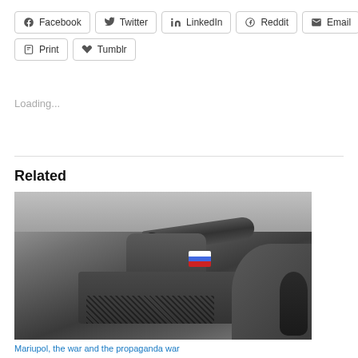Facebook
Twitter
LinkedIn
Reddit
Email
Print
Tumblr
Loading...
Related
[Figure (photo): Black and white photograph of a military tank with barrel extended, close-up view, soldiers visible on the side, taken in a snowy or grey outdoor environment.]
Mariupol, the war and the propaganda war